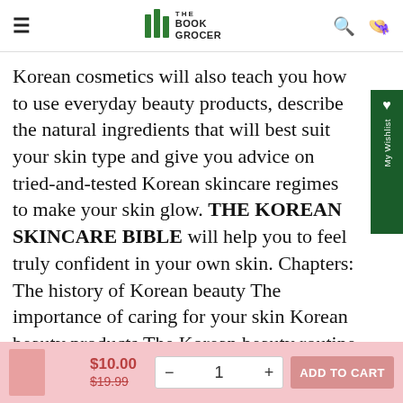THE BOOK GROCER — navigation bar with hamburger menu, logo, search and cart icons
Korean cosmetics will also teach you how to use everyday beauty products, describe the natural ingredients that will best suit your skin type and give you advice on tried-and-tested Korean skincare regimes to make your skin glow. THE KOREAN SKINCARE BIBLE will help you to feel truly confident in your own skin. Chapters: The history of Korean beauty The importance of caring for your skin Korean beauty products The Korean beauty routine Natural ingredients in Korean beauty Natural beauty K-beauty do's and don'ts Korean beauty trends Korean skincare answers Korean skincare tips for men Korean beauty travel tips
$10.00 $19.99 — 1 + ADD TO CART